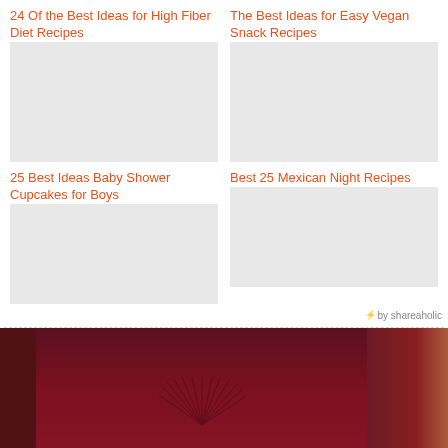24 Of the Best Ideas for High Fiber Diet Recipes
The Best Ideas for Easy Vegan Snack Recipes
[Figure (photo): Image placeholder for High Fiber Diet Recipes]
[Figure (photo): Image placeholder for Easy Vegan Snack Recipes]
25 Best Ideas Baby Shower Cupcakes for Boys
Best 25 Mexican Night Recipes
by shareaholic
[Figure (photo): Photo of food items with dark red/maroon curtain or background with starburst decoration]
[Figure (infographic): Social share bar with Twitter, Facebook, Email, WhatsApp, SMS, Pinterest, More buttons]